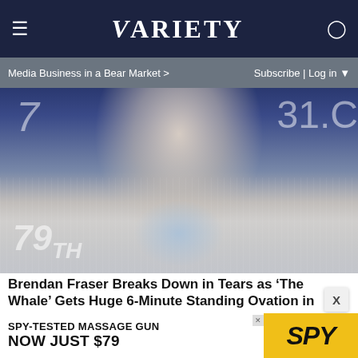VARIETY
Media Business in a Bear Market >  Subscribe | Log in ▼
[Figure (photo): Close-up photo of Brendan Fraser smiling, wearing a light blue shirt and striped blazer, at the Venice Film Festival (79th edition number visible in background)]
Brendan Fraser Breaks Down in Tears as 'The Whale' Gets Huge 6-Minute Standing Ovation in Venice
[Figure (photo): Partial image of a light bulb against a tan/beige background]
[Figure (other): Advertisement banner: SPY-TESTED MASSAGE GUN NOW JUST $79 with SPY logo on yellow background]